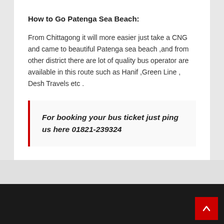How to Go Patenga Sea Beach:
From Chittagong it will more easier just take a CNG and came to beautiful Patenga sea beach ,and from other district there are lot of quality bus operator are available in this route such as Hanif ,Green Line , Desh Travels etc .
For booking your bus ticket just ping us here 01821-239324